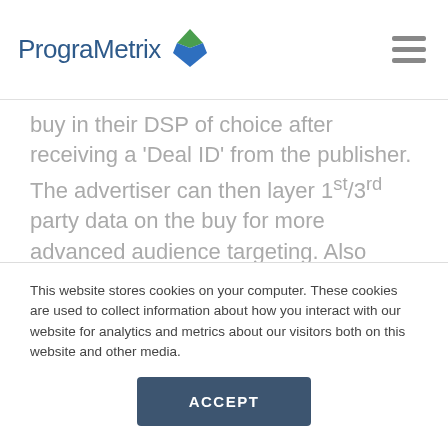PrograMetrix
buy in their DSP of choice after receiving a 'Deal ID' from the publisher. The advertiser can then layer 1st/3rd party data on the buy for more advanced audience targeting. Also referred to as Automated Guaranteed, Programmatic Direct is a good choice for marketers who are focusing on brand safety, inventory control, and premium placements.
This website stores cookies on your computer. These cookies are used to collect information about how you interact with our website for analytics and metrics about our visitors both on this website and other media.